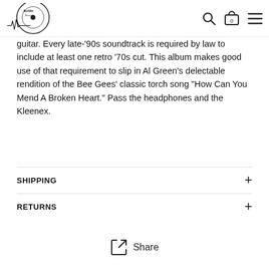Rollin Records [logo] [search] [cart 0] [menu]
guitar. Every late-'90s soundtrack is required by law to include at least one retro '70s cut. This album makes good use of that requirement to slip in Al Green's delectable rendition of the Bee Gees' classic torch song "How Can You Mend A Broken Heart." Pass the headphones and the Kleenex.
SHIPPING
RETURNS
Share